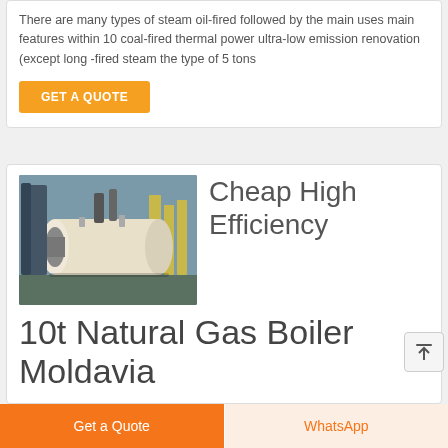There are many types of steam oil-fired followed by the main uses main features within 10 coal-fired thermal power ultra-low emission renovation (except long -fired steam the type of 5 tons
GET A QUOTE
[Figure (photo): Industrial boiler equipment photo showing a large cylindrical gas boiler with piping and structural framework in an industrial facility]
Cheap High Efficiency 10t Natural Gas Boiler Moldavia
Get a Quote
WhatsApp